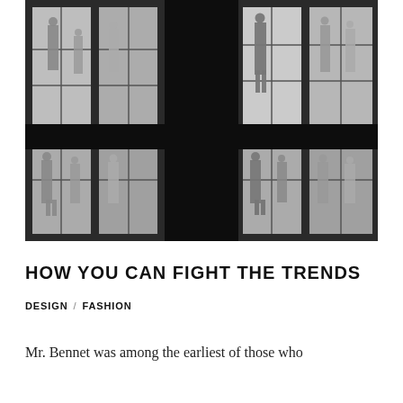[Figure (photo): Black and white photograph of a fashion store exterior at night showing multiple display windows with mannequins dressed in clothing. The building has large grid-paned windows arranged in two rows, with mannequins visible in each illuminated window compartment against a dark background.]
HOW YOU CAN FIGHT THE TRENDS
DESIGN / FASHION
Mr. Bennet was among the earliest of those who